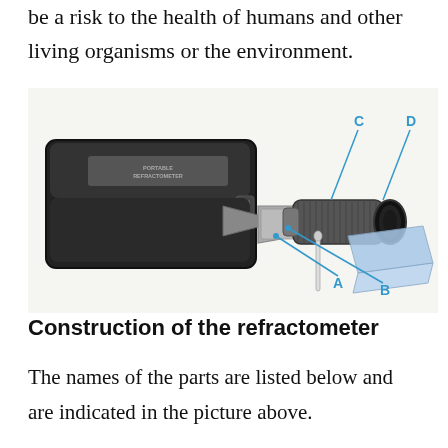be a risk to the health of humans and other living organisms or the environment.
[Figure (photo): A portable refractometer instrument with its carrying case. The refractometer has four labeled parts: A (prism cover/plate), B (prism assembly), C (barrel/body), and D (eyepiece). A cleaning cloth and pipette are also shown.]
Construction of the refractometer
The names of the parts are listed below and are indicated in the picture above.